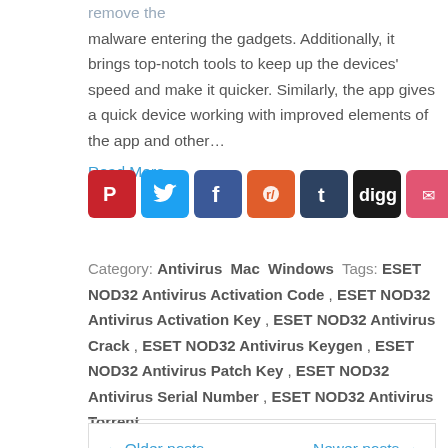remove the malware entering the gadgets. Additionally, it brings top-notch tools to keep up the devices' speed and make it quicker. Similarly, the app gives a quick device working with improved elements of the app and other…
Read More »
[Figure (infographic): Row of social media sharing icons: Pinterest, Twitter, Facebook, Reddit, Tumblr, Digg, Pocket, Share]
Category: Antivirus Mac Windows Tags: ESET NOD32 Antivirus Activation Code , ESET NOD32 Antivirus Activation Key , ESET NOD32 Antivirus Crack , ESET NOD32 Antivirus Keygen , ESET NOD32 Antivirus Patch Key , ESET NOD32 Antivirus Serial Number , ESET NOD32 Antivirus Torrent
← Older posts
Newer posts →